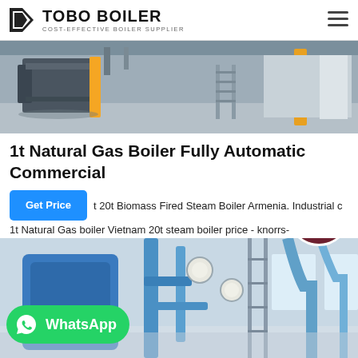TOBO BOILER — COST-EFFECTIVE BOILER SUPPLIER
[Figure (photo): Industrial boiler facility interior showing large boiler equipment, yellow pillars, metal stairs, and concrete flooring]
1t Natural Gas Boiler Fully Automatic Commercial
t 20t Biomass Fired Steam Boiler Armenia. Industrial c 1t Natural Gas boiler Vietnam 20t steam boiler price - knorrs-feriendomizil. 20t industrial boiler - zgsteamboiler.com. Liming · 20 ton industrial boiler hav ...
[Figure (photo): Industrial boiler room with blue piping and pressure gauges, bright interior lighting with windows visible in background. WhatsApp badge overlay in bottom-left. Customer service avatar in top-right.]